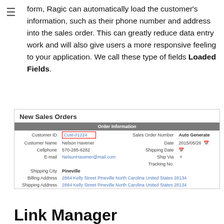form, Ragic can automatically load the customer's information, such as their phone number and address into the sales order. This can greatly reduce data entry work and will also give users a more responsive feeling to your application. We call these type of fields Loaded Fields.
[Figure (screenshot): Screenshot of New Sales Orders form showing Order Information section with fields: Customer ID (Cust-01224), Customer Name (Nelson Havener), Cellphone (570-285-6282), E-mail (NelsonHavener@mail.com), Sales Order Number (Auto Generate), Date (2015/05/26), Shipping Date, Ship Via, Tracking No., Shipping City (Pineville), Billing Address and Shipping Address (2884 Kelly Street Pineville North Carolina United States 28134)]
Link Manager